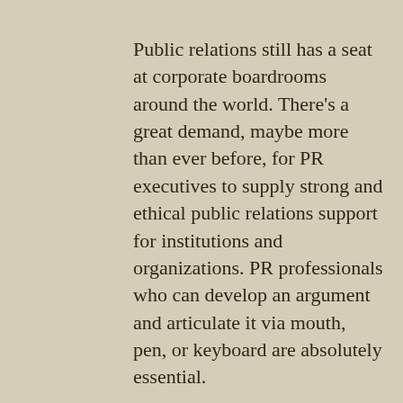Public relations still has a seat at corporate boardrooms around the world. There's a great demand, maybe more than ever before, for PR executives to supply strong and ethical public relations support for institutions and organizations. PR professionals who can develop an argument and articulate it via mouth, pen, or keyboard are absolutely essential.

The challenge, moving forward, is for PR practitioners to continue to have an understanding of PR so that they can provide solid strategic advice and implement required programs to help a company achieve its goals and